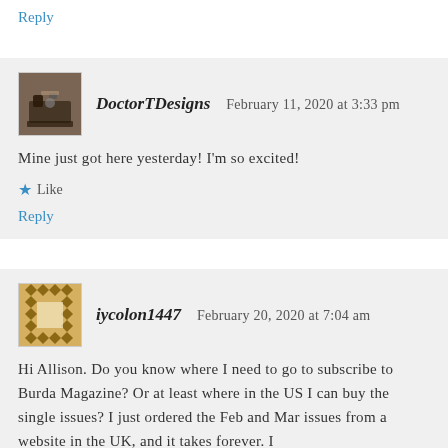Reply
[Figure (photo): Avatar image of DoctorTDesigns showing a sewing machine]
DoctorTDesigns   February 11, 2020 at 3:33 pm
Mine just got here yesterday! I'm so excited!
★ Like
Reply
[Figure (illustration): Avatar image of iycolon1447 showing a geometric quilt pattern in gold and brown]
iycolon1447   February 20, 2020 at 7:04 am
Hi Allison. Do you know where I need to go to subscribe to Burda Magazine? Or at least where in the US I can buy the single issues? I just ordered the Feb and Mar issues from a website in the UK, and it takes forever. I